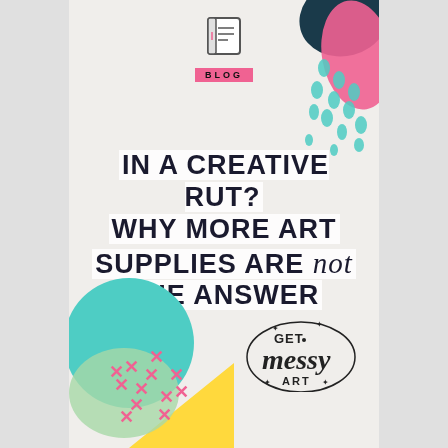[Figure (illustration): Decorative abstract shapes: teal/navy blob and teal polka-dot pattern top right; colorful abstract shapes (teal circle, yellow triangle, pink stars) bottom left]
[Figure (logo): Book/document icon above the BLOG label]
BLOG
IN A CREATIVE RUT? WHY MORE ART SUPPLIES ARE not THE ANSWER
[Figure (logo): Get Messy Art logo in handwritten script style]